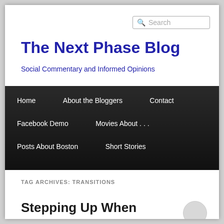Search
The Next Phase Blog
Social Commentary and Informed Opinions
Home  About the Bloggers  Contact  Facebook Demo  Movies About . . .  Posts About Boston  Short Stories
TAG ARCHIVES: TRANSITIONS
Stepping Up When